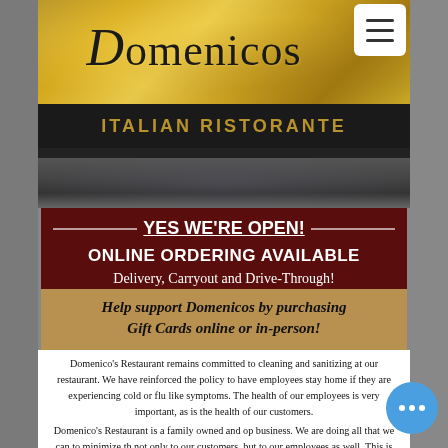[Figure (screenshot): Gold textured header background of Domenicos Italian Ristorante website]
Domenicos
ITALIAN RISTORANTE
[Figure (photo): Dark blurred restaurant interior photo strip]
YES WE'RE OPEN!
ONLINE ORDERING AVAILABLE
Delivery, Carryout and Drive-Through!
Help support Domenicos by purchasing Gift Cards online or in-person!
Domenico's Restaurant remains committed to cleaning and sanitizing at our restaurant. We have reinforced the policy to have employees stay home if they are experiencing cold or flu like symptoms.  The health of our employees is very important, as is the health of our customers.
Domenico's Restaurant is a family owned and operated business. We are doing all that we can to minimize the risk not only to our customers, but to our employees as well. This is